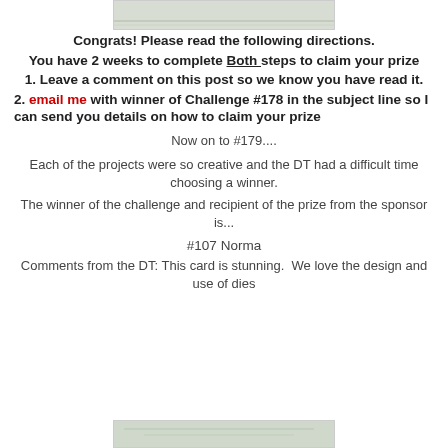[Figure (photo): Partial image at top of page, partially cropped]
Congrats! Please read the following directions.
You have 2 weeks to complete Both steps to claim your prize
1. Leave a comment on this post so we know you have read it.
2. email me with winner of Challenge #178 in the subject line so I can send you details on how to claim your prize
Now on to #179....
Each of the projects were so creative and the DT had a difficult time choosing a winner.
The winner of the challenge and recipient of the prize from the sponsor is...
#107 Norma
Comments from the DT: This card is stunning.  We love the design and use of dies
[Figure (photo): Partial image at bottom of page, partially cropped]